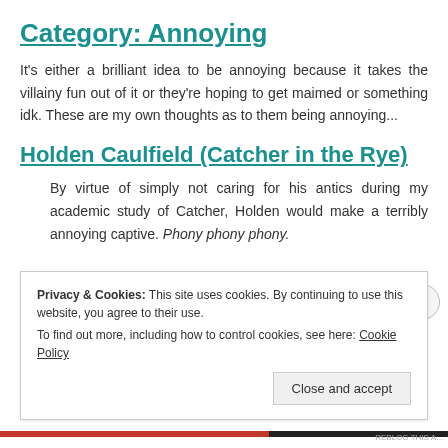Category: Annoying
It's either a brilliant idea to be annoying because it takes the villainy fun out of it or they're hoping to get maimed or something idk. These are my own thoughts as to them being annoying...
Holden Caulfield (Catcher in the Rye)
By virtue of simply not caring for his antics during my academic study of Catcher, Holden would make a terribly annoying captive. Phony phony phony.
Privacy & Cookies: This site uses cookies. By continuing to use this website, you agree to their use.
To find out more, including how to control cookies, see here: Cookie Policy
Close and accept